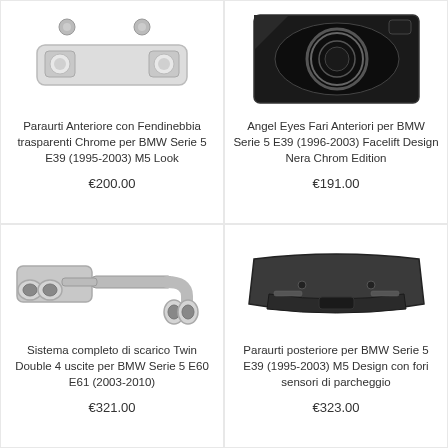[Figure (photo): Paraurti Anteriore con Fendinebbia trasparenti Chrome per BMW Serie 5 E39 (1995-2003) M5 Look — front bumper photo]
Paraurti Anteriore con Fendinebbia trasparenti Chrome per BMW Serie 5 E39 (1995-2003) M5 Look
€200.00
[Figure (photo): Angel Eyes Fari Anteriori per BMW Serie 5 E39 (1996-2003) Facelift Design Nera Chrom Edition — black headlight photo]
Angel Eyes Fari Anteriori per BMW Serie 5 E39 (1996-2003) Facelift Design Nera Chrom Edition
€191.00
[Figure (photo): Sistema completo di scarico Twin Double 4 uscite per BMW Serie 5 E60 E61 (2003-2010) — exhaust system photo]
Sistema completo di scarico Twin Double 4 uscite per BMW Serie 5 E60 E61 (2003-2010)
€321.00
[Figure (photo): Paraurti posteriore per BMW Serie 5 E39 (1995-2003) M5 Design con fori sensori di parcheggio — rear bumper photo]
Paraurti posteriore per BMW Serie 5 E39 (1995-2003) M5 Design con fori sensori di parcheggio
€323.00